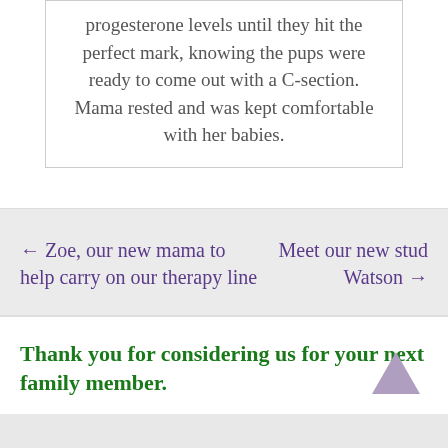progesterone levels until they hit the perfect mark, knowing the pups were ready to come out with a C-section. Mama rested and was kept comfortable with her babies.
← Zoe, our new mama to help carry on our therapy line
Meet our new stud Watson →
Thank you for considering us for your next family member.